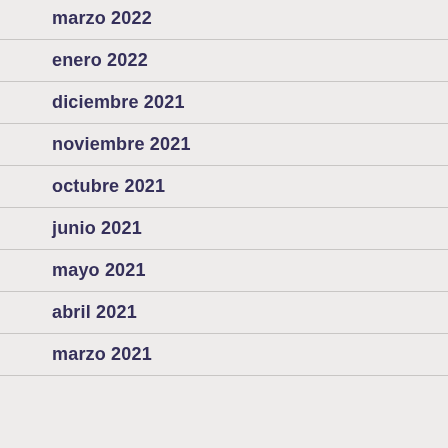marzo 2022
enero 2022
diciembre 2021
noviembre 2021
octubre 2021
junio 2021
mayo 2021
abril 2021
marzo 2021